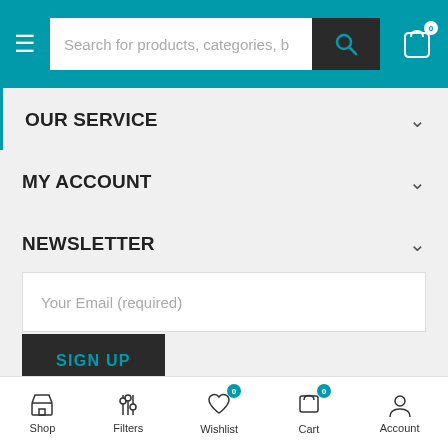Search for products, categories, b
OUR SERVICE
MY ACCOUNT
NEWSLETTER
Your Email (required)
SIGN UP
Need Help? Chat with us
Shop  Filters  Wishlist 0  Cart 0  Account